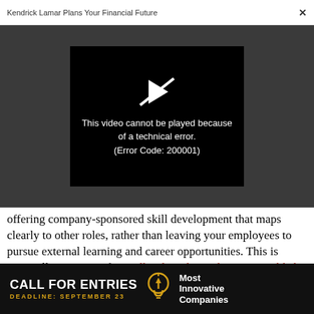Kendrick Lamar Plans Your Financial Future  ×
[Figure (screenshot): Video player error screen on dark grey background. Black video box with broken play button icon and text: 'This video cannot be played because of a technical error. (Error Code: 200001)']
offering company-sponsored skill development that maps clearly to other roles, rather than leaving your employees to pursue external learning and career opportunities. This is especially important for midlevel workers who are most likely to resign.
[Figure (infographic): Black advertisement banner: 'CALL FOR ENTRIES' in large white bold text, 'DEADLINE: SEPTEMBER 23' in yellow small caps, lightbulb icon, 'Most Innovative Companies' in white text on right.]